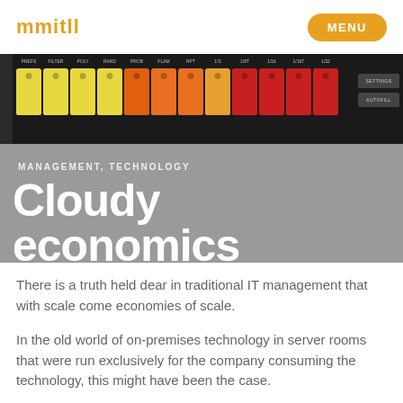mmitll  MENU
[Figure (photo): A close-up photograph of a rack-mounted device panel showing rows of colored hanging tags (yellow, orange, red) with labels including PREFS, FILTER, POLY, RAND, PROB, FLAM, RPT, 1/S, 1/8T, 1/16, 1/16T, 1/32, with SETTINGS and AUTOFILL buttons on the right side.]
MANAGEMENT, TECHNOLOGY
Cloudy economics
There is a truth held dear in traditional IT management that with scale come economies of scale.
In the old world of on-premises technology in server rooms that were run exclusively for the company consuming the technology, this might have been the case. But now that the cloud perform the infrastructure...